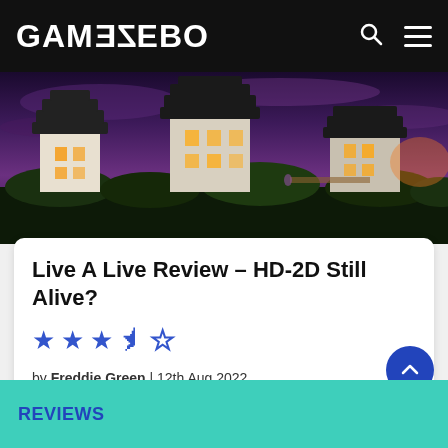GAMEZEBO
[Figure (screenshot): Game screenshot showing a nighttime Japanese castle/pagoda scene with purple sky and glowing windows]
Live A Live Review – HD-2D Still Alive?
★★★½☆
by Freddie Green | 12th Aug 2022
3 Minutes
Switch
REVIEWS